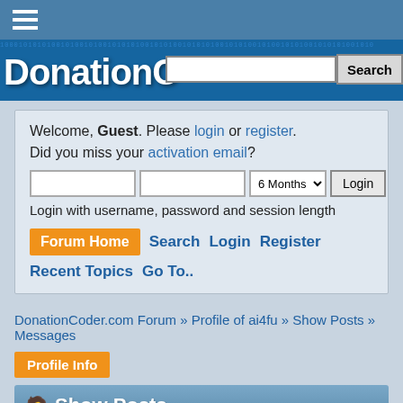DonationCoder.com - Search
Welcome, Guest. Please login or register. Did you miss your activation email?
Login with username, password and session length
Forum Home  Search  Login  Register  Recent Topics  Go To..
DonationCoder.com Forum » Profile of ai4fu » Show Posts » Messages
Profile Info
Show Posts
This section allows you to view all posts made by this member. Note that you can only see posts made in areas